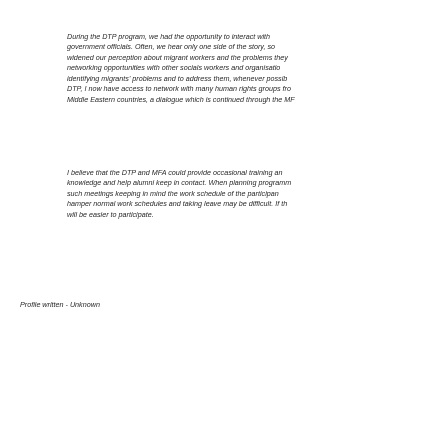During the DTP program, we had the opportunity to interact with government officials. Often, we hear only one side of the story, so widened our perception about migrant workers and the problems they networking opportunities with other socials workers and organisatio identifying migrants' problems and to address them, whenever possib DTP, I now have access to network with many human rights groups fro Middle Eastern countries, a dialogue which is continued through the MF
I believe that the DTP and MFA could provide occasional training an knowledge and help alumni keep in contact. When planning programm such meetings keeping in mind the work schedule of the participan hamper normal work schedules and taking leave may be difficult. If th will be easier to participate.
Profile written - Unknown